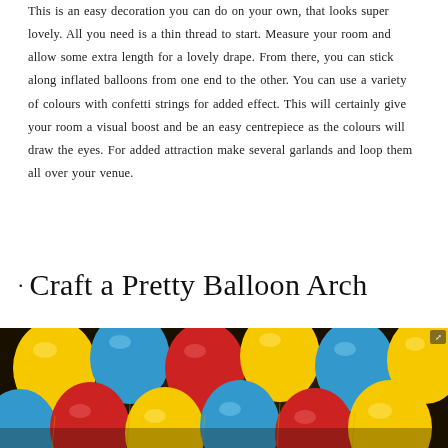This is an easy decoration you can do on your own, that looks super lovely. All you need is a thin thread to start. Measure your room and allow some extra length for a lovely drape. From there, you can stick along inflated balloons from one end to the other. You can use a variety of colours with confetti strings for added effect. This will certainly give your room a visual boost and be an easy centrepiece as the colours will draw the eyes. For added attraction make several garlands and loop them all over your venue.
• Craft a Pretty Balloon Arch
[Figure (photo): Colorful balloons (yellow, red, blue) clustered together against a dark background, illuminated with warm light]